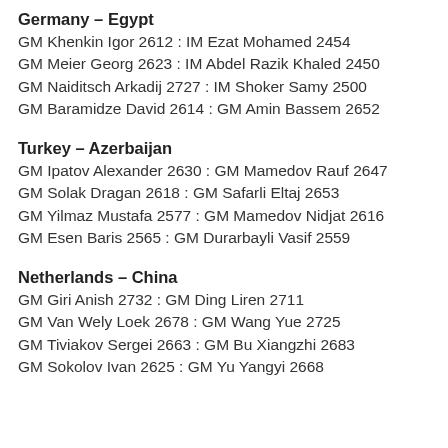Germany – Egypt
GM Khenkin Igor 2612 : IM Ezat Mohamed 2454
GM Meier Georg 2623 : IM Abdel Razik Khaled 2450
GM Naiditsch Arkadij 2727 : IM Shoker Samy 2500
GM Baramidze David 2614 : GM Amin Bassem 2652
Turkey – Azerbaijan
GM Ipatov Alexander 2630 : GM Mamedov Rauf 2647
GM Solak Dragan 2618 : GM Safarli Eltaj 2653
GM Yilmaz Mustafa 2577 : GM Mamedov Nidjat 2616
GM Esen Baris 2565 : GM Durarbayli Vasif 2559
Netherlands – China
GM Giri Anish 2732 : GM Ding Liren 2711
GM Van Wely Loek 2678 : GM Wang Yue 2725
GM Tiviakov Sergei 2663 : GM Bu Xiangzhi 2683
GM Sokolov Ivan 2625 : GM Yu Yangyi 2668